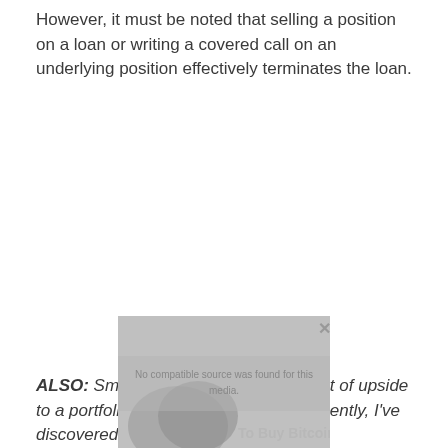However, it must be noted that selling a position on a loan or writing a covered call on an underlying position effectively terminates the loan.
ALSO: Small-cap equities can add a lot of upside to a portfolio while mitigating risks. Recently, I've discovered Mainvest's
[Figure (other): Video placeholder showing 'No compatible source was found for this media.' overlay with a dark shadowy background and partial text 'To Buy Bitcoin']